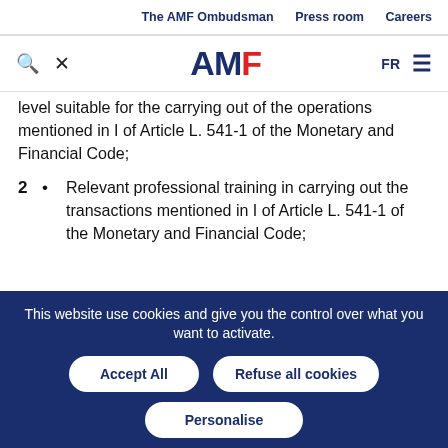The AMF Ombudsman   Press room   Careers
[Figure (logo): AMF logo with search and tools icons on left, FR language switcher and hamburger menu on right]
level suitable for the carrying out of the operations mentioned in I of Article L. 541-1 of the Monetary and Financial Code;
2 • Relevant professional training in carrying out the transactions mentioned in I of Article L. 541-1 of the Monetary and Financial Code;
This website use cookies and give you the control over what you want to activate.
Accept All   Refuse all cookies   Personalise